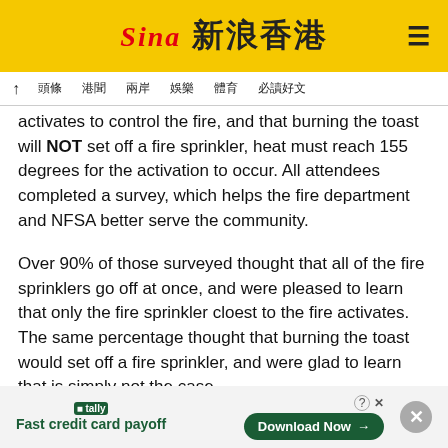Sina 新浪香港
↑ 頭條 港聞 兩岸 娛樂 體育 必讀好文
activates to control the fire, and that burning the toast will NOT set off a fire sprinkler, heat must reach 155 degrees for the activation to occur. All attendees completed a survey, which helps the fire department and NFSA better serve the community.
Over 90% of those surveyed thought that all of the fire sprinklers go off at once, and were pleased to learn that only the fire sprinkler cloest to the fire activates. The same percentage thought that burning the toast would set off a fire sprinkler, and were glad to learn that is simply not the case.
[Figure (other): Tally advertisement banner: tally logo with text 'Fast credit card payoff' and a 'Download Now' button]